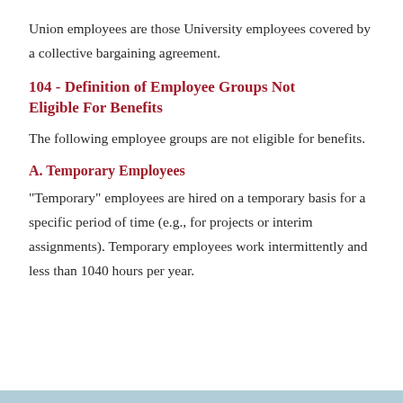Union employees are those University employees covered by a collective bargaining agreement.
104 - Definition of Employee Groups Not Eligible For Benefits
The following employee groups are not eligible for benefits.
A. Temporary Employees
"Temporary" employees are hired on a temporary basis for a specific period of time (e.g., for projects or interim assignments). Temporary employees work intermittently and less than 1040 hours per year.